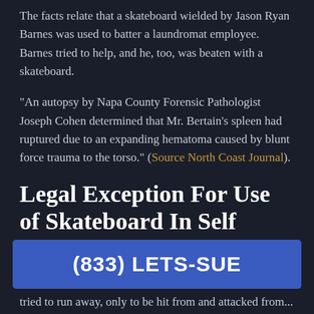The facts relate that a skateboard wielded by Jason Ryan Barnes was used to batter a laundromat employee. Barnes tried to help, and he, too, was beaten with a skateboard.
"An autopsy by Napa County Forensic Pathologist Joseph Cohen determined that Mr. Bertain's spleen had ruptured due to an expanding hematoma caused by blunt force trauma to the torso." (Source North Coast Journal).
Legal Exception For Use of Skateboard In Self Defense?
[Figure (infographic): Blue call-to-action bar with phone number (833) LETS-SUE]
Under California law, you have no duty to retreat or run from an attacker. As we saw in the Rittenhouse case, he tried to run away, only to be hit from and attacked from...